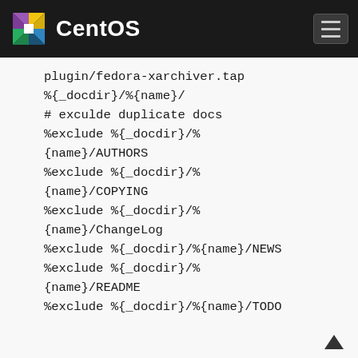CentOS
plugin/fedora-xarchiver.tap
%{_docdir}/%{name}/
# exculde duplicate docs
%exclude %{_docdir}/%{name}/AUTHORS
%exclude %{_docdir}/%{name}/COPYING
%exclude %{_docdir}/%{name}/ChangeLog
%exclude %{_docdir}/%{name}/NEWS
%exclude %{_docdir}/%{name}/README
%exclude %{_docdir}/%{name}/TODO